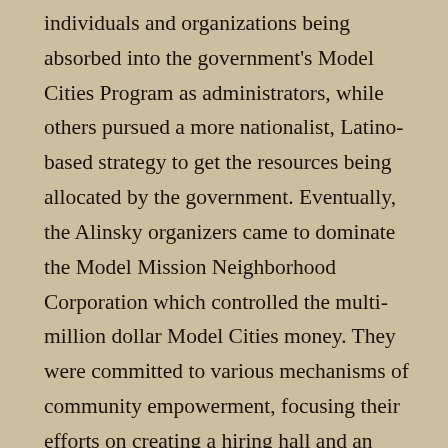individuals and organizations being absorbed into the government's Model Cities Program as administrators, while others pursued a more nationalist, Latino-based strategy to get the resources being allocated by the government. Eventually, the Alinsky organizers came to dominate the Model Mission Neighborhood Corporation which controlled the multi-million dollar Model Cities money. They were committed to various mechanisms of community empowerment, focusing their efforts on creating a hiring hall and an educational program, and were to be tightly controlled by the larger MCO. When the Latino social agencies that predated the MCO saw someone else getting the money, they took over the MCO and fought with the Alinskyites on the MMNC over the dispensation of the Model Cities grants. Ultimately